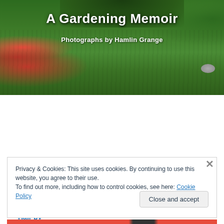[Figure (photo): Book cover photograph showing a lush green garden lawn with pink flowering shrubs on the left, dense dark green foliage/trees at the top, and a small stone visible at the right. Text overlay reads 'A Gardening Memoir' and 'Photographs by Hamlin Grange'.]
Twigs in My Hair by Cynthia Reyes
Privacy & Cookies: This site uses cookies. By continuing to use this website, you agree to their use.
To find out more, including how to control cookies, see here: Cookie Policy